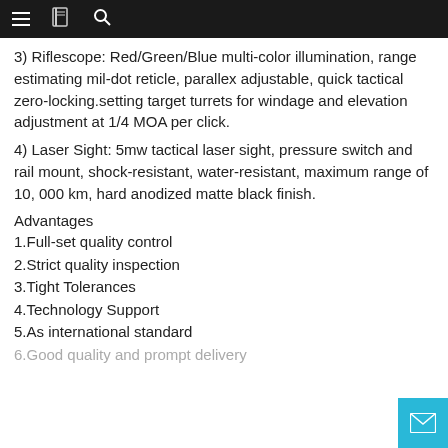≡  🔖  🔍
3) Riflescope: Red/Green/Blue multi-color illumination, range estimating mil-dot reticle, parallex adjustable, quick tactical zero-locking.setting target turrets for windage and elevation adjustment at 1/4 MOA per click.
4) Laser Sight: 5mw tactical laser sight, pressure switch and rail mount, shock-resistant, water-resistant, maximum range of 10, 000 km, hard anodized matte black finish.
Advantages
1.Full-set quality control
2.Strict quality inspection
3.Tight Tolerances
4.Technology Support
5.As international standard
6.Good quality and prompt delivery